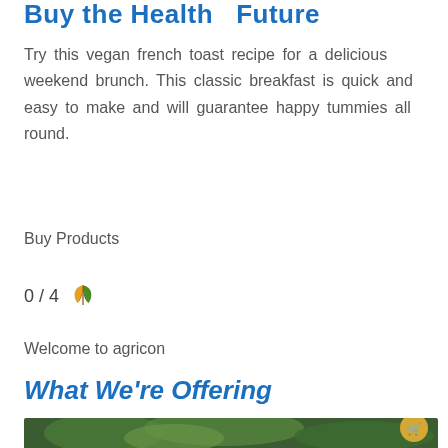Buy the Health Future
Try this vegan french toast recipe for a delicious weekend brunch. This classic breakfast is quick and easy to make and will guarantee happy tummies all round.
Buy Products
0 / 4
Welcome to agricon
What We're Offering
[Figure (photo): Close-up photo of green plant leaves on a branch, with golden circular cart/scroll buttons on the right side]